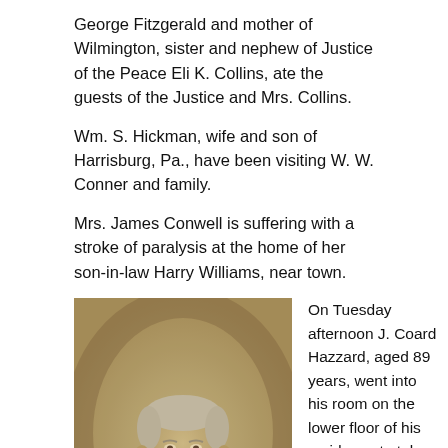George Fitzgerald and mother of Wilmington, sister and nephew of Justice of the Peace Eli K. Collins, ate the guests of the Justice and Mrs. Collins.
Wm. S. Hickman, wife and son of Harrisburg, Pa., have been visiting W. W. Conner and family.
Mrs. James Conwell is suffering with a stroke of paralysis at the home of her son-in-law Harry Williams, near town.
[Figure (photo): Sepia-toned portrait photograph of an elderly man with white hair and a white beard, wearing a dark suit with a bow tie. The photograph is in the style of a 19th-century carte de visite.]
On Tuesday afternoon J. Coard Hazzard, aged 89 years, went into his room on the lower floor of his residence to take a nap. It being somewhat cool he lit a coal oil stove and closed the windows and doors and went to sleep. Sometime afterward the neighbors observed a density of smoke without